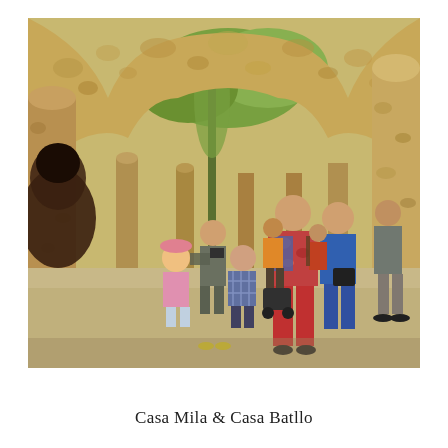[Figure (photo): Tourists walking under stone arched colonnade at Park Güell, Barcelona. Large rough-hewn stone columns support curved arched ceilings. People of various ages stroll through the shaded walkway. A woman in a floral top with red pants and backpack stands in the foreground, and a child in a pink and plaid outfit is nearby. Other visitors visible in background.]
Casa Mila & Casa Batllo